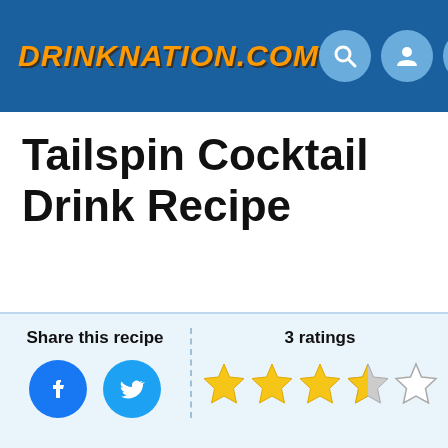DRINKNATION.COM
Tailspin Cocktail Drink Recipe
Share this recipe
3 ratings